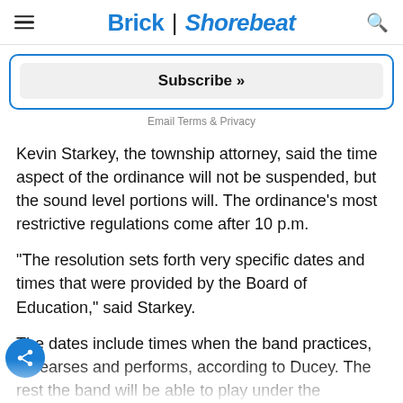Brick | Shorebeat
[Figure (other): Subscribe button inside a blue-bordered rounded box]
Email Terms & Privacy
Kevin Starkey, the township attorney, said the time aspect of the ordinance will not be suspended, but the sound level portions will. The ordinance’s most restrictive regulations come after 10 p.m.
“The resolution sets forth very specific dates and times that were provided by the Board of Education,” said Starkey.
The dates include times when the band practices, rehearses and performs, according to Ducey. The rest the band will be able to play under the